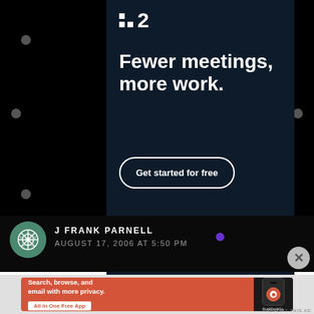[Figure (screenshot): Screenshot of a webpage showing two advertisements. Top section: Dark navy ad for a project management tool (appears to be Flat.io or similar) with logo, headline 'Fewer meetings, more work.' and a 'Get started for free' button. Middle: Comment by J FRANK PARNELL dated AUGUST 17, 2006 AT 5:50 PM. Bottom: DuckDuckGo advertisement with orange background showing 'Search, browse, and email with more privacy. All in One Free App' with phone mockup.]
Fewer meetings, more work.
Get started for free
REPORT THIS AD
J FRANK PARNELL
AUGUST 17, 2006 AT 5:50 PM
Search, browse, and email with more privacy.
All in One Free App
DuckDuckGo.
REPORT THIS AD